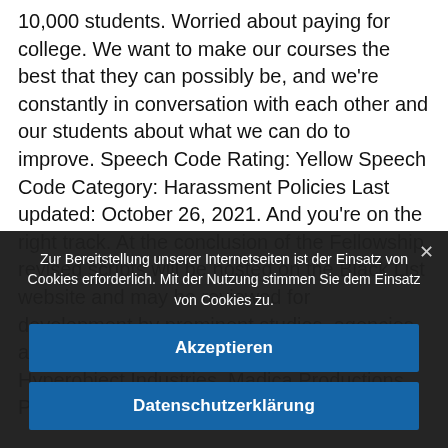10,000 students. Worried about paying for college. We want to make our courses the best that they can possibly be, and we're constantly in conversation with each other and our students about what we can do to improve. Speech Code Rating: Yellow Speech Code Category: Harassment Policies Last updated: October 26, 2021. And you're on the right track. At the conclusion of the Fellowship, revised scripts will be hosted on the Black List website and may be reviewed for development by prominent studios, agencies and/or production companies including Hyperobject Industries, Madica Productions, Participant, UTA and WME. In 1948, his
Zur Bereitstellung unserer Internetseiten ist der Einsatz von Cookies erforderlich. Mit der Nutzung stimmen Sie dem Einsatz von Cookies zu.
Akzeptieren
Datenschutzerklärung